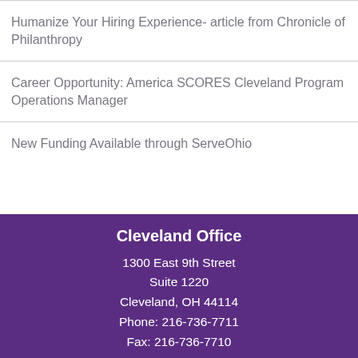Humanize Your Hiring Experience- article from Chronicle of Philanthropy
Career Opportunity: America SCORES Cleveland Program Operations Manager
New Funding Available through ServeOhio
Cleveland Office
1300 East 9th Street
Suite 1220
Cleveland, OH 44114
Phone: 216-736-7711
Fax: 216-736-7710